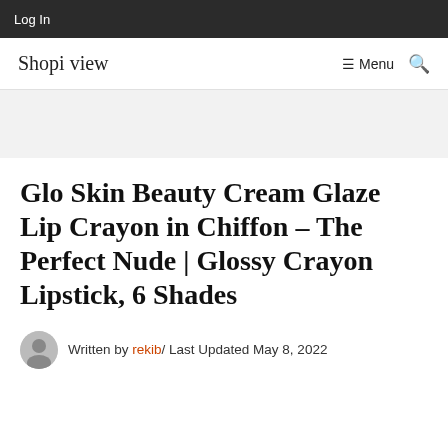Log In
Shopi view
Glo Skin Beauty Cream Glaze Lip Crayon in Chiffon – The Perfect Nude | Glossy Crayon Lipstick, 6 Shades
Written by rekib/ Last Updated May 8, 2022